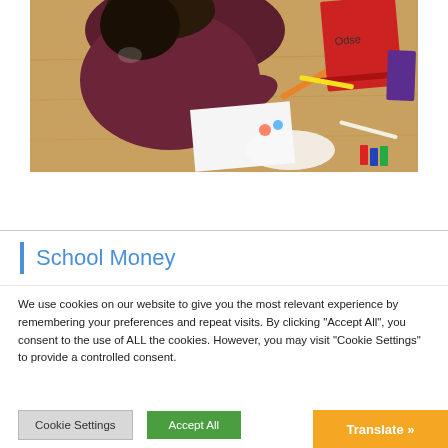[Figure (photo): Child with dark hair wearing a maroon/purple top, leaning over a wooden desk/table with art supplies, pencils, a red notebook and purple items visible]
School Money
We use cookies on our website to give you the most relevant experience by remembering your preferences and repeat visits. By clicking "Accept All", you consent to the use of ALL the cookies. However, you may visit "Cookie Settings" to provide a controlled consent.
Cookie Settings
Accept All
Translate »